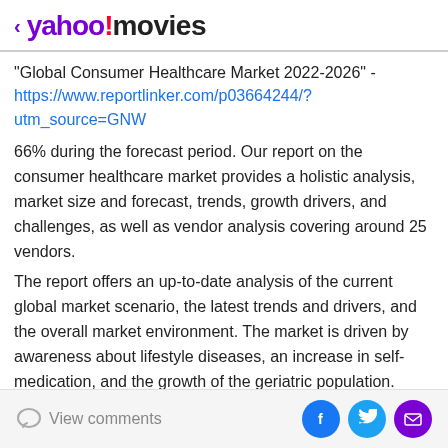< yahoo!movies
"Global Consumer Healthcare Market 2022-2026" - https://www.reportlinker.com/p03664244/?utm_source=GNW
66% during the forecast period. Our report on the consumer healthcare market provides a holistic analysis, market size and forecast, trends, growth drivers, and challenges, as well as vendor analysis covering around 25 vendors.
The report offers an up-to-date analysis of the current global market scenario, the latest trends and drivers, and the overall market environment. The market is driven by awareness about lifestyle diseases, an increase in self-medication, and the growth of the geriatric population.
View comments